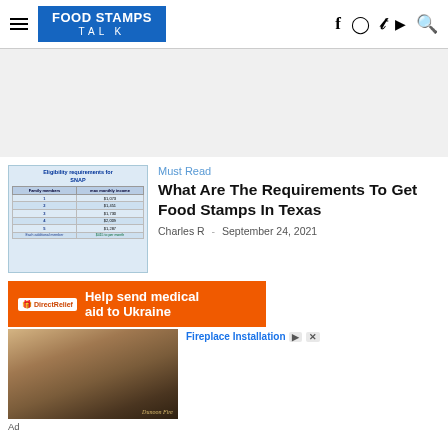FOOD STAMPS TALK
[Figure (table-as-image): Eligibility requirements for SNAP table showing family members and max monthly income]
Must Read
What Are The Requirements To Get Food Stamps In Texas
Charles R  -  September 24, 2021
[Figure (photo): DirectRelief orange advertisement banner: Help send medical aid to Ukraine]
[Figure (photo): Fireplace Installation advertisement showing stone fireplace]
Fireplace Installation
Ad